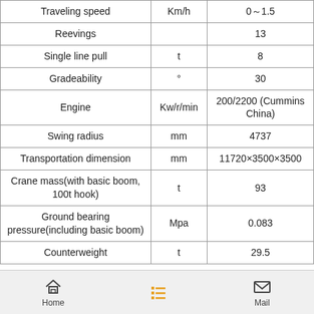| Parameter | Unit | Value |
| --- | --- | --- |
| Traveling speed | Km/h | 0～1.5 |
| Reevings |  | 13 |
| Single line pull | t | 8 |
| Gradeability | ° | 30 |
| Engine | Kw/r/min | 200/2200 (Cummins China) |
| Swing radius | mm | 4737 |
| Transportation dimension | mm | 11720×3500×3500 |
| Crane mass(with basic boom, 100t hook) | t | 93 |
| Ground bearing pressure(including basic boom) | Mpa | 0.083 |
| Counterweight | t | 29.5 |
Home   Mail